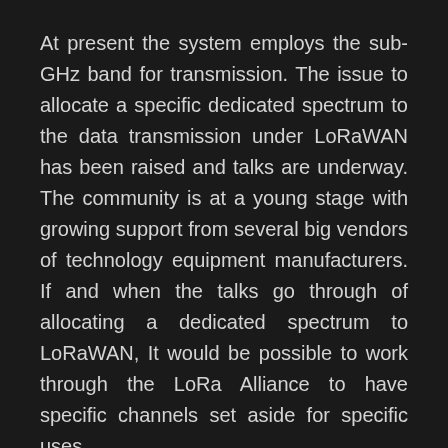At present the system employs the sub-GHz band for transmission. The issue to allocate a specific dedicated spectrum to the data transmission under LoRaWAN has been raised and talks are underway. The community is at a young stage with growing support from several big vendors of technology equipment manufacturers. If and when the talks go through of allocating a dedicated spectrum to LoRaWAN, It would be possible to work through the LoRa Alliance to have specific channels set aside for specific uses.
FURTHER DEVELOPMENTS
Creators are the backbone of innovation. They don't